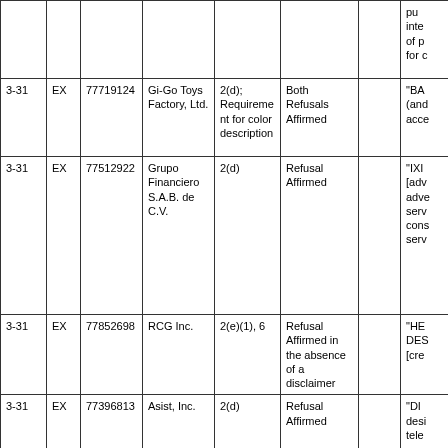|  |  |  |  |  |  |  |  |
| --- | --- | --- | --- | --- | --- | --- | --- |
|  |  |  |  |  |  |  | pu... inte... of p... for c... |
| 3-31 | EX | 77719124 | Gi-Go Toys Factory, Ltd. | 2(d); Requirement for color description | Both Refusals Affirmed |  | "BA (and acce... |
| 3-31 | EX | 77512922 | Grupo Financiero S.A.B. de C.V. | 2(d) | Refusal Affirmed |  | "IXI [adv... adve... serv... cons... serv... |
| 3-31 | EX | 77852698 | RCG Inc. | 2(e)(1), 6 | Refusal Affirmed in the absence of a disclaimer |  | "HE DES [cre... |
| 3-31 | EX | 77396813 | Asist, Inc. | 2(d) | Refusal Affirmed |  | "DI desi tele... |
| 3-31 | EX | 77724146 | Landscape Structures, Inc. | 2(d) | Refusal Reversed |  | "TO [per play... |